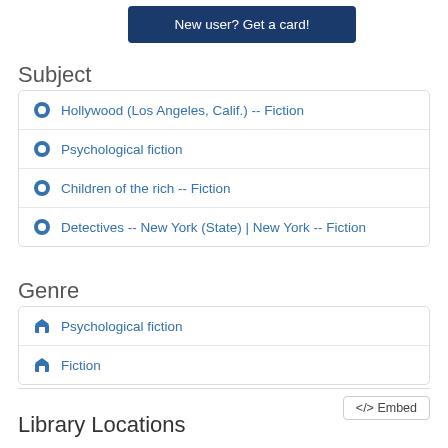New user? Get a card!
Subject
Hollywood (Los Angeles, Calif.) -- Fiction
Psychological fiction
Children of the rich -- Fiction
Detectives -- New York (State) | New York -- Fiction
Genre
Psychological fiction
Fiction
</> Embed
Library Locations